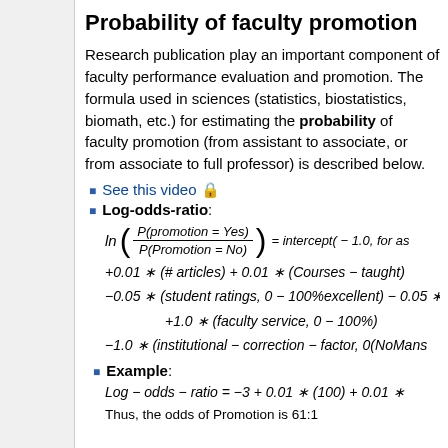Probability of faculty promotion
Research publication play an important component of faculty performance evaluation and promotion. The formula used in sciences (statistics, biostatistics, biomath, etc.) for estimating the probability of faculty promotion (from assistant to associate, or from associate to full professor) is described below.
See this video 🔒
Log-odds-ratio:
Example:
Thus, the odds of Promotion is 61:1